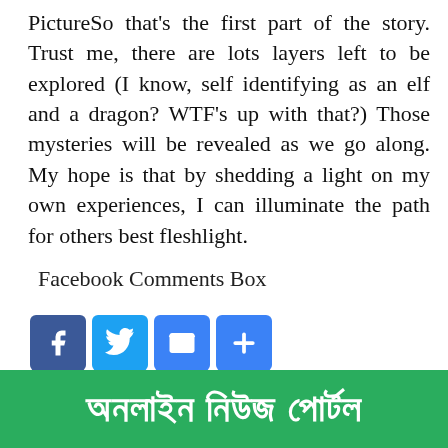PictureSo that's the first part of the story. Trust me, there are lots layers left to be explored (I know, self identifying as an elf and a dragon? WTF's up with that?) Those mysteries will be revealed as we go along. My hope is that by shedding a light on my own experiences, I can illuminate the path for others best fleshlight.
Facebook Comments Box
[Figure (screenshot): Social share buttons: Facebook (blue), Twitter (blue), Email (blue), Plus/More (blue)]
[Figure (screenshot): Facebook Share button with count 0]
[Figure (screenshot): Green banner with Bengali text reading অনলাইন নিউজ পোর্টল]